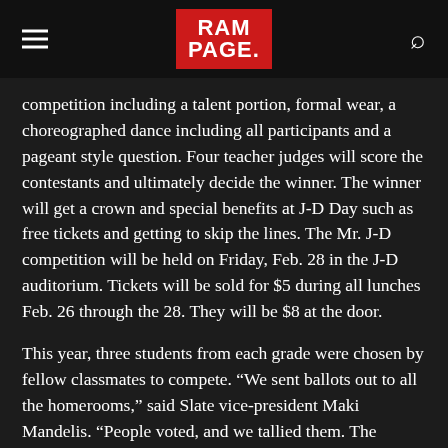RAMPAGE.
competition including a talent portion, formal wear, a choreographed dance including all participants and a pageant style question. Four teacher judges will score the contestants and ultimately decide the winner. The winner will get a crown and special benefits at J-D Day such as free tickets and getting to skip the lines. The Mr. J-D competition will be held on Friday, Feb. 28 in the J-D auditorium. Tickets will be sold for $5 during all lunches Feb. 26 through the 28. They will be $8 at the door.
This year, three students from each grade were chosen by fellow classmates to compete. “We sent ballots out to all the homerooms,” said Slate vice-president Maki Mandelis. “People voted, and we tallied them. The